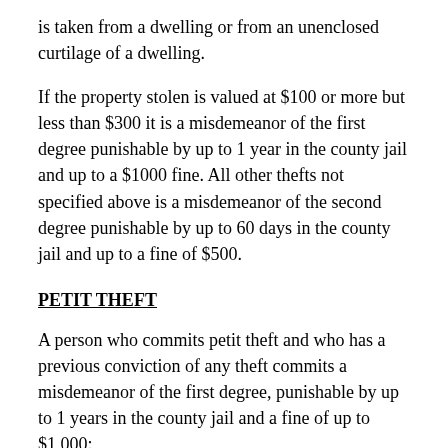is taken from a dwelling or from an unenclosed curtilage of a dwelling.
If the property stolen is valued at $100 or more but less than $300 it is a misdemeanor of the first degree punishable by up to 1 year in the county jail and up to a $1000 fine. All other thefts not specified above is a misdemeanor of the second degree punishable by up to 60 days in the county jail and up to a fine of $500.
PETIT THEFT
A person who commits petit theft and who has a previous conviction of any theft commits a misdemeanor of the first degree, punishable by up to 1 years in the county jail and a fine of up to $1,000;
A person who commits petit theft and who has been convicted of two or more thefts commits a felony of the third degree, punishable by up to 5 years in state